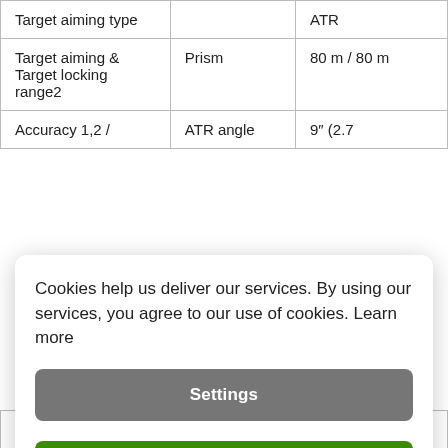|  |  |  |
| --- | --- | --- |
| Target aiming type |  | ATR |
| Target aiming & Target locking range2 | Prism | 80 m / 80 m |
| Accuracy 1,2 / | ATR angle | 9" (2.7 |
| Range / |  | 80 m / |
Cookies help us deliver our services. By using our services, you agree to our use of cookies. Learn more
Settings
Agree